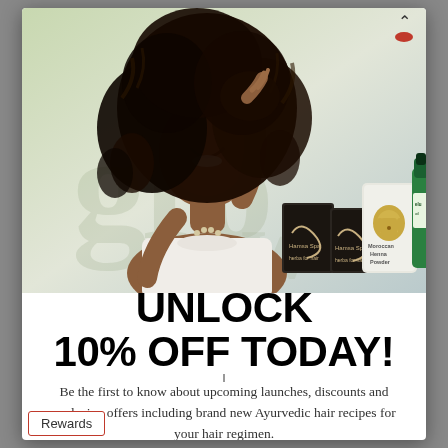[Figure (photo): A smiling woman with large natural curly hair holding her hair up, wearing a white top with beaded necklace, standing in front of hair care products including Moroccan Henna Powder and other branded products, with a light green/grey background and watermark text]
UNLOCK 10% OFF TODAY!
Be the first to know about upcoming launches, discounts and exclusive offers including brand new Ayurvedic hair recipes for your hair regimen.
Rewards